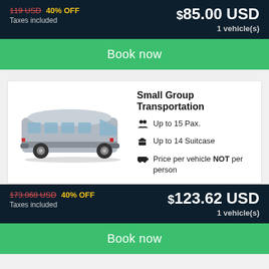119 USD  40% OFF  $85.00 USD
Taxes included  1 vehicle(s)
Book now
[Figure (illustration): Silver passenger van / minibus side view]
Small Group Transportation
Up to 15 Pax.
Up to 14 Suitcase
Price per vehicle NOT per person
173.068 USD  40% OFF  $123.62 USD
Taxes included  1 vehicle(s)
Book now
Shuttle from Cancun Airport to Nolita